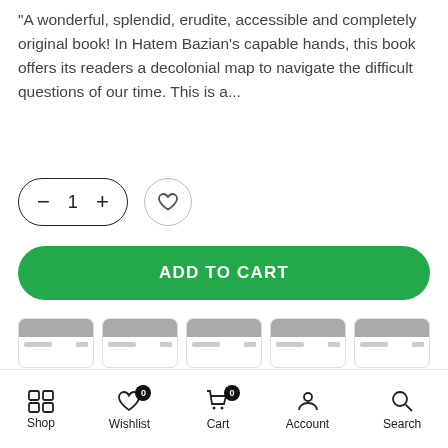"A wonderful, splendid, erudite, accessible and completely original book! In Hatem Bazian's capable hands, this book offers its readers a decolonial map to navigate the difficult questions of our time. This is a...
[Figure (other): Quantity selector pill with minus and plus buttons showing 1, and a heart/wishlist circle button]
[Figure (other): Green ADD TO CART button with rounded pill shape]
[Figure (other): Five payment card icons in a row showing accepted payment methods]
Ask a Question
SKU: N/A
Shop  Wishlist 0  Cart 0  Account  Search